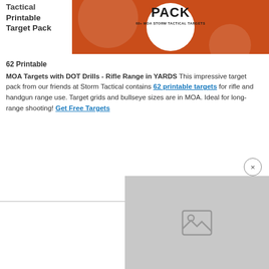Tactical Printable Target Pack
[Figure (illustration): Orange and white Storm Tactical Target Pack banner with PACK text and '60+ MOA STORM TACTICAL TARGETS' subtitle, circular white center element]
62 Printable MOA Targets with DOT Drills - Rifle Range in YARDS This impressive target pack from our friends at Storm Tactical contains 62 printable targets for rifle and handgun range use. Target grids and bullseye sizes are in MOA. Ideal for long-range shooting! Get Free Targets
[Figure (other): Gray popup overlay with broken image icon placeholder and close button (×)]